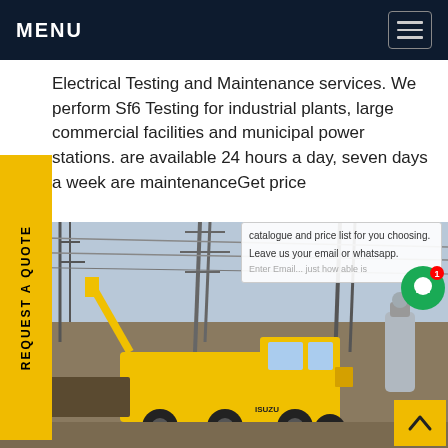MENU
Electrical Testing and Maintenance services. We perform Sf6 Testing for industrial plants, large commercial facilities and municipal power stations. are available 24 hours a day, seven days a week are maintenanceGet price
REQUEST A QUOTE
[Figure (photo): Yellow Isuzu utility truck and crane vehicle at an electrical substation with high-voltage transmission towers and equipment in the background.]
catalogue and price list for you choosing. Leave us your email or whatsapp.